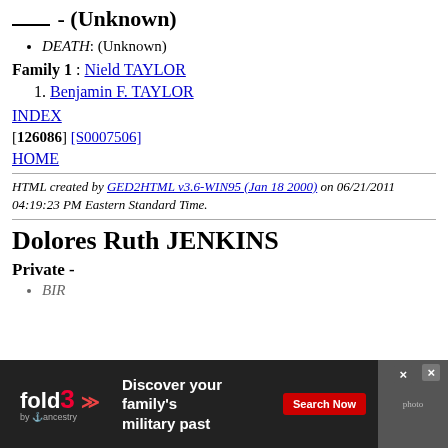____ - (Unknown)
DEATH: (Unknown)
Family 1 : Nield TAYLOR
1. Benjamin F. TAYLOR
INDEX
[126086] [S0007506]
HOME
HTML created by GED2HTML v3.6-WIN95 (Jan 18 2000) on 06/21/2011 04:19:23 PM Eastern Standard Time.
Dolores Ruth JENKINS
Private -
BIRTH: (Unknown)